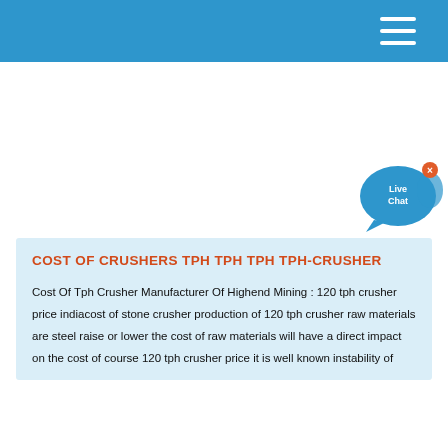[Figure (illustration): Live Chat widget button with blue speech bubble, fish icon, and X close button]
COST OF CRUSHERS TPH TPH TPH TPH-CRUSHER
Cost Of Tph Crusher Manufacturer Of Highend Mining : 120 tph crusher price indiacost of stone crusher production of 120 tph crusher raw materials are steel raise or lower the cost of raw materials will have a direct impact on the cost of course 120 tph crusher price it is well known instability of